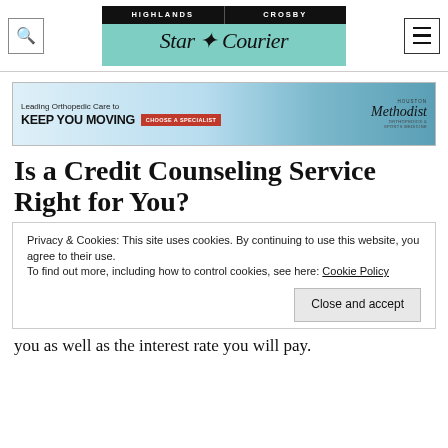Highlands Crosby Star Courier
[Figure (illustration): Houston Methodist Orthopedics & Sports Medicine advertisement banner. Text reads: Leading Orthopedic Care to KEEP YOU MOVING | CHOOSE A SPECIALIST | Methodist Orthopedics & Sports Medicine]
Is a Credit Counseling Service Right for You?
Privacy & Cookies: This site uses cookies. By continuing to use this website, you agree to their use.
To find out more, including how to control cookies, see here: Cookie Policy
Close and accept
you as well as the interest rate you will pay.